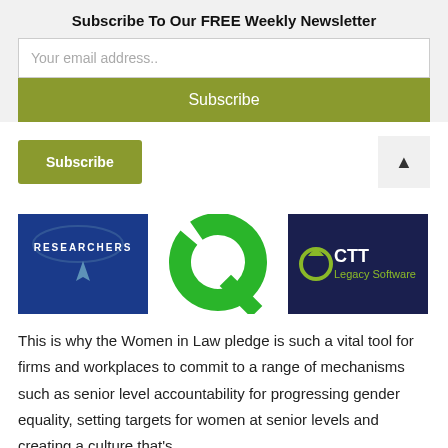Subscribe To Our FREE Weekly Newsletter
Your email address..
Subscribe
Subscribe
[Figure (logo): Three logos: Researchers (blue background with white text and moon/bird symbol), green letter Q logo, CTT Legacy Software (dark navy background with green C icon and white CTT text and green Legacy Software text)]
This is why the Women in Law pledge is such a vital tool for firms and workplaces to commit to a range of mechanisms such as senior level accountability for progressing gender equality, setting targets for women at senior levels and creating a culture that's